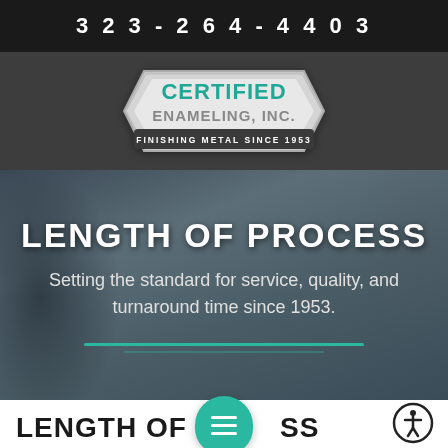323-264-4403
[Figure (logo): Certified Enameling Inc. logo - hexagonal/shield shape with teal text 'CERTIFIED ENAMELING, INC.' and subtitle 'FINISHING METAL SINCE 1953']
LENGTH OF PROCESS
Setting the standard for service, quality, and turnaround time since 1953.
LENGTH OF PROCESS